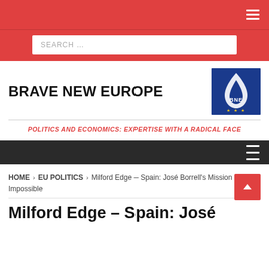Hamburger menu icon
SEARCH ...
BRAVE NEW EUROPE
[Figure (logo): BNE logo — blue background with white flame/droplet graphic and 'BNE' text with stars]
POLITICS AND ECONOMICS: EXPERTISE WITH A RADICAL FACE
HOME > EU POLITICS > Milford Edge – Spain: José Borrell's Mission Impossible
Milford Edge – Spain: José